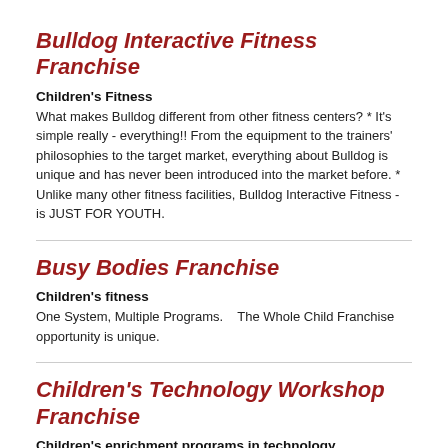Bulldog Interactive Fitness Franchise
Children's Fitness
What makes Bulldog different from other fitness centers? * It's simple really - everything!! From the equipment to the trainers' philosophies to the target market, everything about Bulldog is unique and has never been introduced into the market before. * Unlike many other fitness facilities, Bulldog Interactive Fitness - is JUST FOR YOUTH.
Busy Bodies Franchise
Children's fitness
One System, Multiple Programs.    The Whole Child Franchise opportunity is unique.
Children's Technology Workshop Franchise
Children's enrichment programs in technology, engineering & science